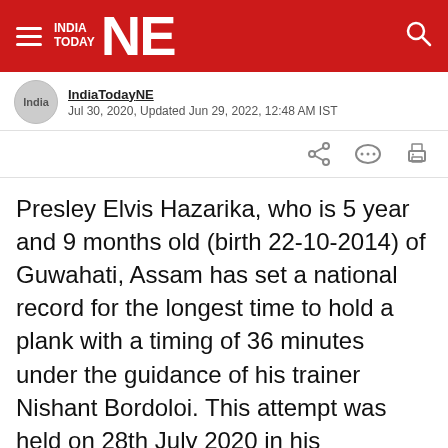INDIA TODAY NE
IndiaToday NE
Jul 30, 2020, Updated Jun 29, 2022, 12:48 AM IST
Presley Elvis Hazarika, who is 5 year and 9 months old (birth 22-10-2014) of Guwahati, Assam has set a national record for the longest time to hold a plank with a timing of 36 minutes under the guidance of his trainer Nishant Bordoloi. This attempt was held on 28th July 2020 in his residence, Guwahati. His earlier record was 2 minutes 15 seconds. Master Presley Elvis Hazarika secures his place